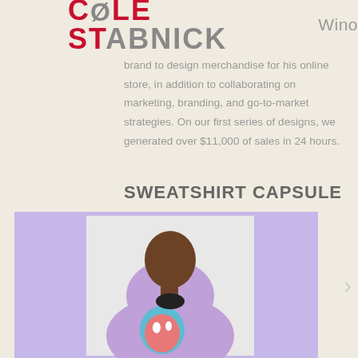COLE STABNICK   Wino
brand to design merchandise for his online store, in addition to collaborating on marketing, branding, and go-to-market strategies.  On our first series of designs, we generated over $11,000 of sales in 24 hours.
SWEATSHIRT CAPSULE
[Figure (photo): Person wearing a purple/lavender hoodie sweatshirt with a graphic face print, photographed against a light background, displayed within a purple-toned image container with a navigation arrow on the right]